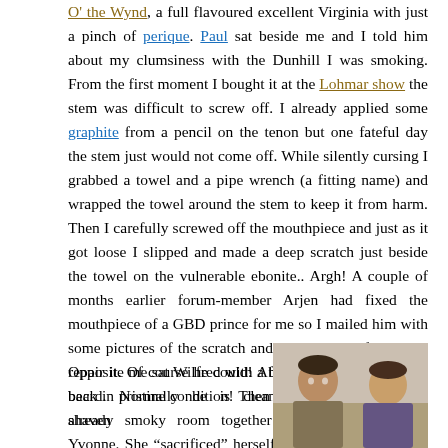O' the Wynd, a full flavoured excellent Virginia with just a pinch of perique. Paul sat beside me and I told him about my clumsiness with the Dunhill I was smoking. From the first moment I bought it at the Lohmar show the stem was difficult to screw off. I already applied some graphite from a pencil on the tenon but one fateful day the stem just would not come off. While silently cursing I grabbed a towel and a pipe wrench (a fitting name) and wrapped the towel around the stem to keep it from harm. Then I carefully screwed off the mouthpiece and just as it got loose I slipped and made a deep scratch just beside the towel on the vulnerable ebonite.. Argh! A couple of months earlier forum-member Arjen had fixed the mouthpiece of a GBD prince for me so I mailed him with some pictures of the scratch and the question if he could repair it. Of course he could! After a short while I had it back in pristine condition! Then I saw Klaas entering the already smoky room together with his lovely wife Yvonne. She “sacrificed” herself so Klaas could be with us, the darling, and brought a huge camera with her which she aimed at us again and again.
Opposite me sat Wilfred with a big beard. Normally he is cleanly shaven
[Figure (photo): Photo of two people, partially visible at bottom right of page]